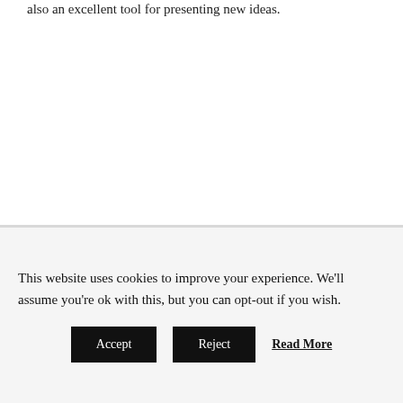also an excellent tool for presenting new ideas.
This website uses cookies to improve your experience. We'll assume you're ok with this, but you can opt-out if you wish.
Accept  Reject  Read More